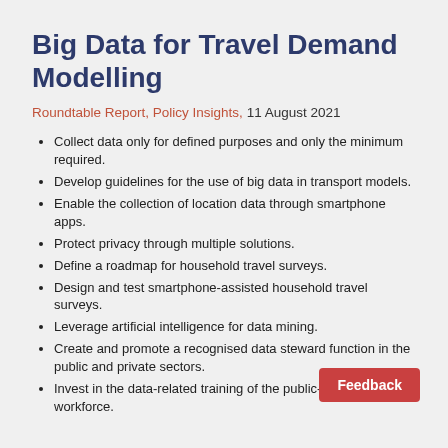Big Data for Travel Demand Modelling
Roundtable Report, Policy Insights, 11 August 2021
Collect data only for defined purposes and only the minimum required.
Develop guidelines for the use of big data in transport models.
Enable the collection of location data through smartphone apps.
Protect privacy through multiple solutions.
Define a roadmap for household travel surveys.
Design and test smartphone-assisted household travel surveys.
Leverage artificial intelligence for data mining.
Create and promote a recognised data steward function in the public and private sectors.
Invest in the data-related training of the public-sector workforce.